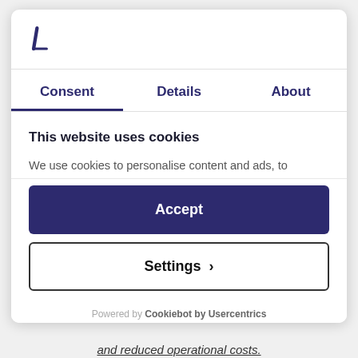[Figure (logo): Stylized letter L logo in dark navy/indigo color]
Consent	Details	About
This website uses cookies
We use cookies to personalise content and ads, to provide social media features and to analyse our traffic. We also share information about your use of our site...
Accept
Settings >
Powered by Cookiebot by Usercentrics
and reduced operational costs.